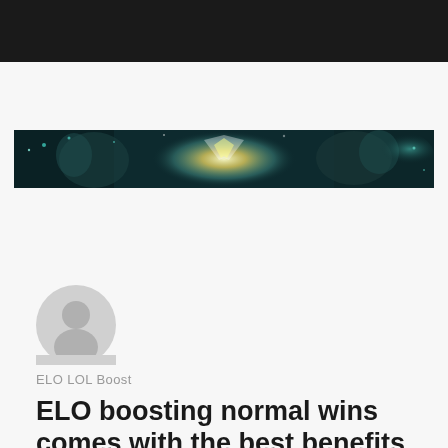[Figure (illustration): Horizontal banner image showing fantasy game characters with glowing light effects, dark teal and gold tones, depicting League of Legends style artwork]
[Figure (illustration): Generic grey user avatar icon — circular silhouette of a person on light grey background]
ELO LOL Boost
ELO boosting normal wins comes with the best benefits you should know about